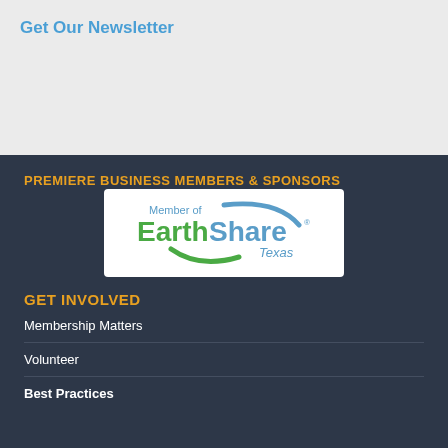Get Our Newsletter
PREMIERE BUSINESS MEMBERS & SPONSORS
[Figure (logo): Member of EarthShare Texas logo — green and blue wordmark with circular arc]
GET INVOLVED
Membership Matters
Volunteer
Best Practices